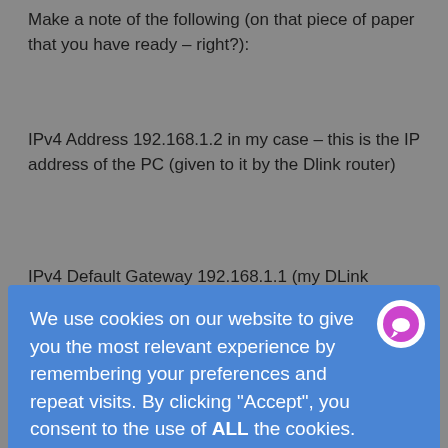Make a note of the following (on that piece of paper that you have ready – right?):
IPv4 Address 192.168.1.2 in my case – this is the IP address of the PC (given to it by the Dlink router)
IPv4 Default Gateway 192.168.1.1 (my DLink router's IP
[Figure (screenshot): Cookie consent overlay dialog on a blue background. Text reads: 'We use cookies on our website to give you the most relevant experience by remembering your preferences and repeat visits. By clicking "Accept", you consent to the use of ALL the cookies.' with a 'Do not sell my personal information.' link, 'Cookie settings' underlined button, and a dark blue 'ACCEPT' button. A purple chat bubble icon appears in the top right of the overlay. Left and right navigation arrows are visible on sides.]
my DLink router).
We now need to stop my Windows 7 PC from getting it's IP address from the DLink router via DHCP and set the IP address of the Windows 7 PC to a specific, fixed IP address, because we are going to run a DHCP server (tftpd32) on the PC itself.